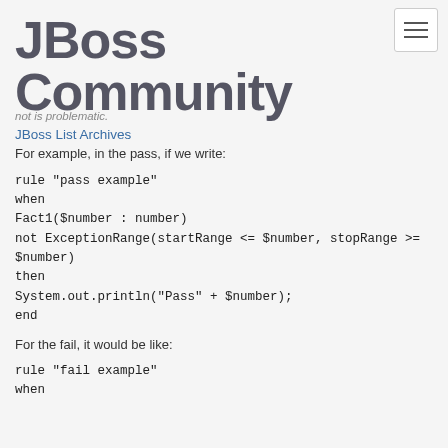[Figure (logo): JBoss Community logo - large bold text]
JBoss List Archives
not is problematic.
For example, in the pass, if we write:
rule "pass example"
when
Fact1($number : number)
not ExceptionRange(startRange <= $number, stopRange >= $number)
then
System.out.println("Pass" + $number);
end
For the fail, it would be like:
rule "fail example"
when